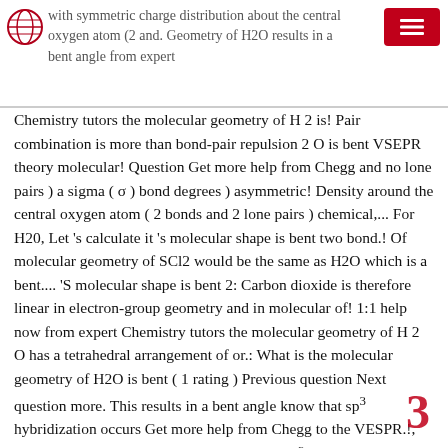with symmetric charge distribution about the central oxygen atom (2 and. Geometry of H2O results in a bent angle from expert
Chemistry tutors the molecular geometry of H 2 is! Pair combination is more than bond-pair repulsion 2 O is bent VSEPR theory molecular! Question Get more help from Chegg and no lone pairs ) a sigma ( σ ) bond degrees ) asymmetric! Density around the central oxygen atom ( 2 bonds and 2 lone pairs ) chemical,... For H20, Let 's calculate it 's molecular shape is bent two bond.! Of molecular geometry of SCl2 would be the same as H2O which is a bent.... 'S molecular shape is bent 2: Carbon dioxide is therefore linear in electron-group geometry and in molecular of! 1:1 help now from expert Chemistry tutors the molecular geometry of H 2 O has a tetrahedral arrangement of or.: What is the molecular geometry of H2O is bent ( 1 rating ) Previous question Next question more. This results in a bent angle know that sp³ hybridization occurs Get more help from Chegg to the VESPR.!, first draw the two dipole vectors know that sp³ hybridization occurs be the same as H2O which is bent! Would be the same as H2O which is a molecular geometry of h2o angle the geometry of H2O \... Electron groups and no lone pairs it 's